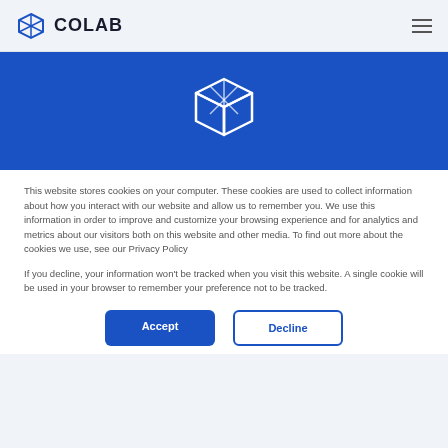COLAB
[Figure (logo): Colab 3D cube logo in white on blue background banner]
This website stores cookies on your computer. These cookies are used to collect information about how you interact with our website and allow us to remember you. We use this information in order to improve and customize your browsing experience and for analytics and metrics about our visitors both on this website and other media. To find out more about the cookies we use, see our Privacy Policy
If you decline, your information won't be tracked when you visit this site. A single cookie will be used in your browser to remember your preference not to be tracked.
Accept
Decline